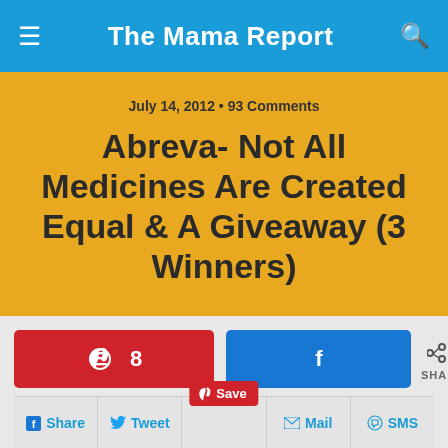The Mama Report
July 14, 2012 • 93 Comments
Abreva- Not All Medicines Are Created Equal & A Giveaway (3 Winners)
8 SHARES (Pinterest share button)
8 (Facebook share button)
Share | Tweet | Save | Mail | SMS
8 SHARES (second Pinterest share button)
8 (second Facebook share button)